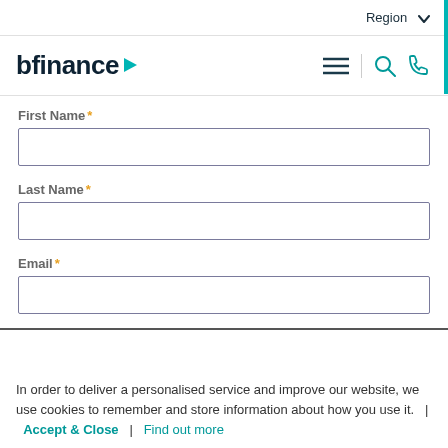Region
[Figure (logo): bfinance logo with teal triangle]
First Name *
Last Name *
Email *
In order to deliver a personalised service and improve our website, we use cookies to remember and store information about how you use it.  |  Accept & Close  |  Find out more